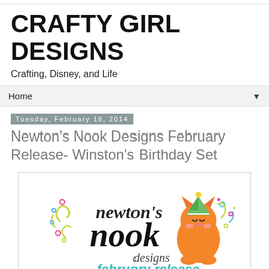CRAFTY GIRL DESIGNS
Crafting, Disney, and Life
Home
Tuesday, February 18, 2014
Newton's Nook Designs February Release- Winston's Birthday Set
[Figure (logo): Newton's Nook Designs logo with an orange cartoon cat wearing a party hat, colorful confetti/swirls, and text reading 'newton's nook designs february release']